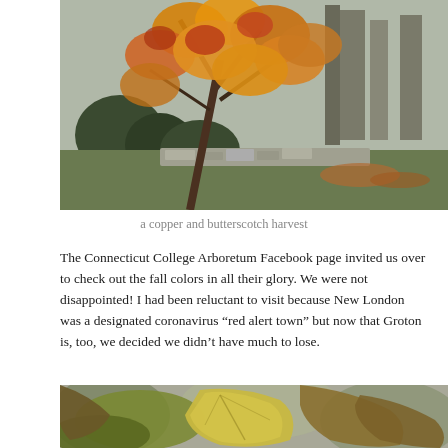[Figure (photo): Autumn tree with orange and yellow maple leaves, garden with rounded shrubs, stone wall, evergreen trees in background on overcast day]
a copper and butterscotch harvest
The Connecticut College Arboretum Facebook page invited us over to check out the fall colors in all their glory. We were not disappointed! I had been reluctant to visit because New London was a designated coronavirus “red alert town” but now that Groton is, too, we decided we didn’t have much to lose.
[Figure (photo): Close-up of autumn leaves on a tree, showing yellowed and brown-edged leaves with green centers, out-of-focus background]